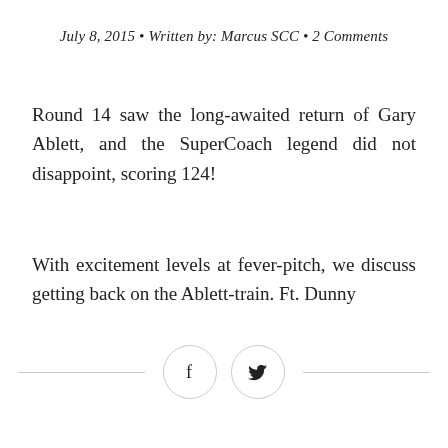July 8, 2015 • Written by: Marcus SCC • 2 Comments
Round 14 saw the long-awaited return of Gary Ablett, and the SuperCoach legend did not disappoint, scoring 124!
With excitement levels at fever-pitch, we discuss getting back on the Ablett-train. Ft. Dunny
[Figure (other): Social share buttons: Facebook (f) and Twitter (bird icon) in circular outlines, flanked by horizontal lines]